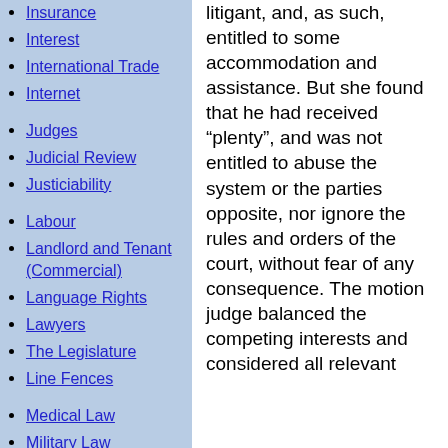Insurance
Interest
International Trade
Internet
Judges
Judicial Review
Justiciability
Labour
Landlord and Tenant (Commercial)
Language Rights
Lawyers
The Legislature
Line Fences
Medical Law
Military Law
Mining
Mootness
Motor Vehicle Dealing
Municipal Law
litigant, and, as such, entitled to some accommodation and assistance. But she found that he had received “plenty”, and was not entitled to abuse the system or the parties opposite, nor ignore the rules and orders of the court, without fear of any consequence. The motion judge balanced the competing interests and considered all relevant